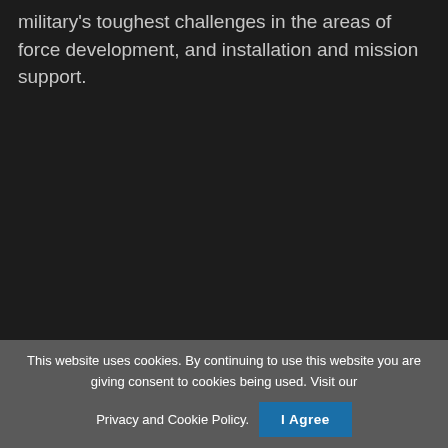military's toughest challenges in the areas of force development, and installation and mission support.
This website uses cookies. By continuing to use this website you are giving consent to cookies being used. Visit our Privacy and Cookie Policy.   I Agree